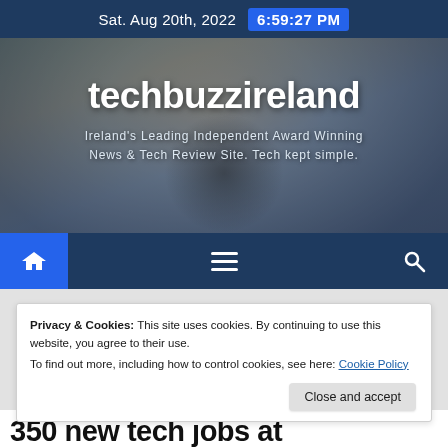Sat. Aug 20th, 2022  6:59:27 PM
[Figure (photo): Website hero banner with blurred photo of a person in background, showing techbuzzireland website header]
techbuzzireland
Ireland's Leading Independent Award Winning News & Tech Review Site. Tech kept simple.
[Figure (screenshot): Navigation bar with home icon (blue background), hamburger menu, and search icon on dark navy background]
Privacy & Cookies: This site uses cookies. By continuing to use this website, you agree to their use.
To find out more, including how to control cookies, see here: Cookie Policy
Close and accept
350 new tech jobs at